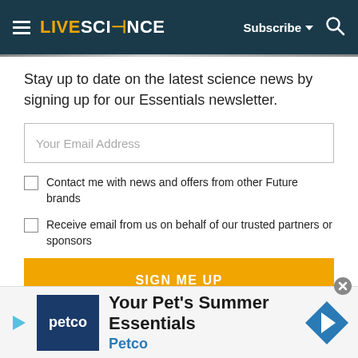LIVESCIENCE  Subscribe  [search]
Stay up to date on the latest science news by signing up for our Essentials newsletter.
Your Email Address
Contact me with news and offers from other Future brands
Receive email from us on behalf of our trusted partners or sponsors
SIGN ME UP
By submitting your information you agree to the Terms & Conditions and Privacy Policy and are aged 16 or over.
[Figure (other): Petco advertisement banner: Your Pet's Summer Essentials, Petco]